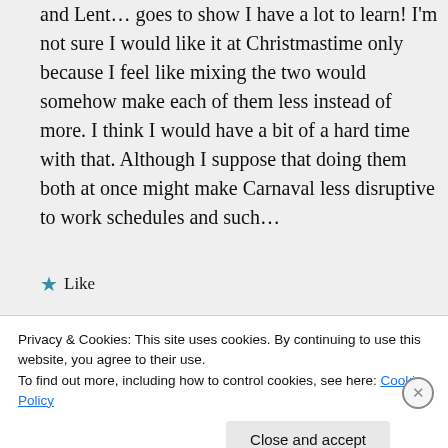and Lent… goes to show I have a lot to learn! I'm not sure I would like it at Christmastime only because I feel like mixing the two would somehow make each of them less instead of more. I think I would have a bit of a hard time with that. Although I suppose that doing them both at once might make Carnaval less disruptive to work schedules and such…
★ Like
Privacy & Cookies: This site uses cookies. By continuing to use this website, you agree to their use. To find out more, including how to control cookies, see here: Cookie Policy
Close and accept